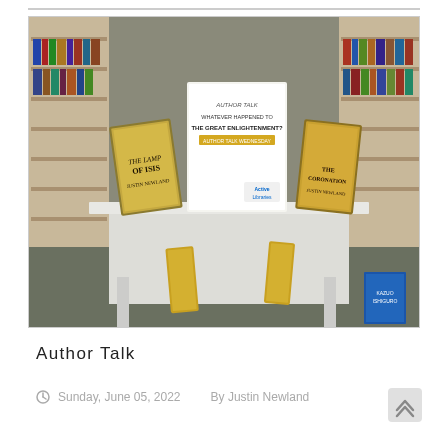[Figure (photo): Library table display with several books and bookmarks arranged, including 'The Lamp of Isis' and 'The Coronation' by Justin Newland, with an 'Author Talk - Whatever Happened to the Great Enlightenment?' poster and Active Libraries logo. Library shelves visible in background.]
Author Talk
Sunday, June 05, 2022   By Justin Newland